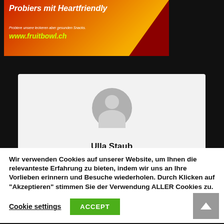[Figure (illustration): Fruitbowl Heartfriendly advertisement banner with orange/red gradient background, white bold italic text 'Probiers mit Heartfriendly', smaller text 'Probiere unsere leckeren aber gesunden Snacks.' and yellow-green URL 'www.fruitbowl.ch']
[Figure (illustration): User profile card with light gray background. Gray anonymous avatar icon (circle head + body silhouette). Partially visible bold name text 'Ulla Staub' at bottom.]
Wir verwenden Cookies auf unserer Website, um Ihnen die relevanteste Erfahrung zu bieten, indem wir uns an Ihre Vorlieben erinnern und Besuche wiederholen. Durch Klicken auf "Akzeptieren" stimmen Sie der Verwendung ALLER Cookies zu.
Cookie settings
ACCEPT